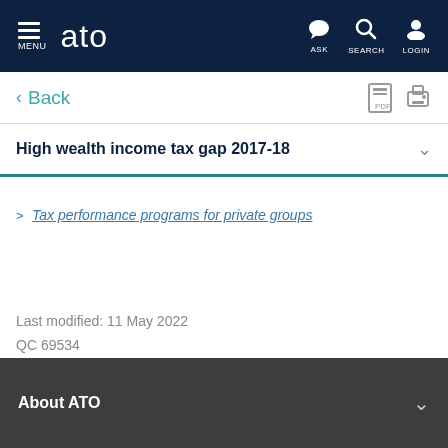ATO - MENU ASK SEARCH LOGIN
< Back
High wealth income tax gap 2017-18
> Tax performance programs for private groups
Last modified: 11 May 2022
QC 69534
About ATO